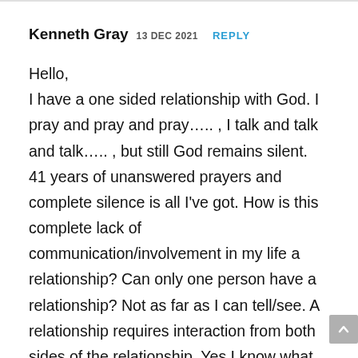Kenneth Gray 13 DEC 2021 REPLY
Hello,
I have a one sided relationship with God. I pray and pray and pray….. , I talk and talk and talk….. , but still God remains silent. 41 years of unanswered prayers and complete silence is all I've got. How is this complete lack of communication/involvement in my life a relationship? Can only one person have a relationship? Not as far as I can tell/see. A relationship requires interaction from both sides of the relationship. Yes I know what God did in